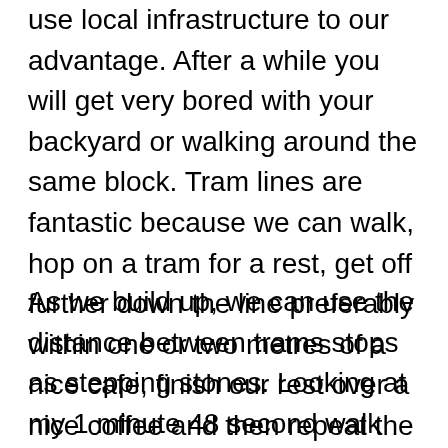use local infrastructure to our advantage. After a while you will get very bored with your backyard or walking around the same block. Tram lines are fantastic because we can walk, hop on a tram for a rest, get off further down the line preferably within one or two metres of a nice cafe, finish our rest over a nice coffee and then repeat the exercise back.
As we build up, we can use the distance between trams stops as stepping stones. Looking at my 1 minute 48 second walk between stops cited above, that is way more than a 10% increase from a 4 minute baseline. That would be closer to 50%. WAY too much